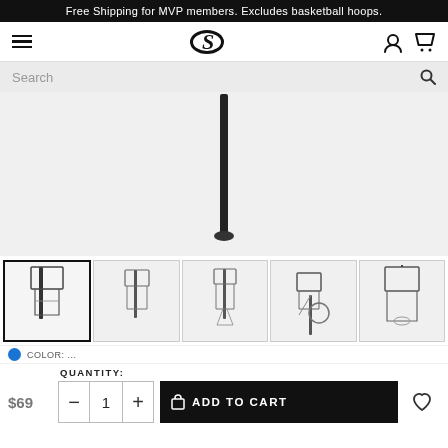Free Shipping for MVP members. Excludes basketball hoops.
[Figure (screenshot): Spalding logo (stylized S in oval) navigation bar with hamburger menu, user icon, and cart icon]
[Figure (screenshot): Search bar with placeholder text 'Search' and magnifying glass icon]
[Figure (photo): Main product image of a basketball hoop/pole on white/light grey background, showing the pole from top]
[Figure (photo): Thumbnail row of 5 basketball hoop product images, first one is selected/active with black border]
QUANTITY:
$69
- 1 + ADD TO CART ♡